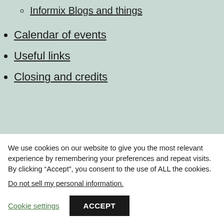Informix Blogs and things
Calendar of events
Useful links
Closing and credits
|  |  |
We use cookies on our website to give you the most relevant experience by remembering your preferences and repeat visits. By clicking “Accept”, you consent to the use of ALL the cookies.
Do not sell my personal information.
Cookie settings   ACCEPT